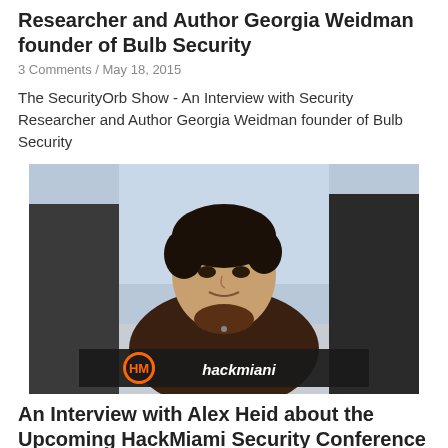Researcher and Author Georgia Weidman founder of Bulb Security
3 Comments / May 18, 2015
The SecurityOrb Show - An Interview with Security Researcher and Author Georgia Weidman founder of Bulb Security
[Figure (photo): A man seated in front of equipment, with a HackMiami logo banner visible at the bottom of the video frame.]
An Interview with Alex Heid about the Upcoming HackMiami Security Conference on May 15 – 17, 2015
2 Comments / May 6, 2015